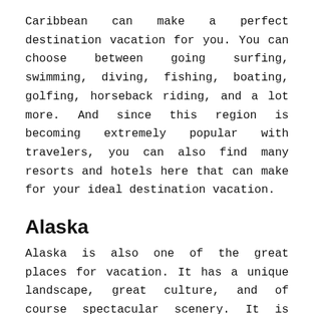Caribbean can make a perfect destination vacation for you. You can choose between going surfing, swimming, diving, fishing, boating, golfing, horseback riding, and a lot more. And since this region is becoming extremely popular with travelers, you can also find many resorts and hotels here that can make for your ideal destination vacation.
Alaska
Alaska is also one of the great places for vacation. It has a unique landscape, great culture, and of course spectacular scenery. It is considered to be one of the most beautiful places in the world. You can choose between